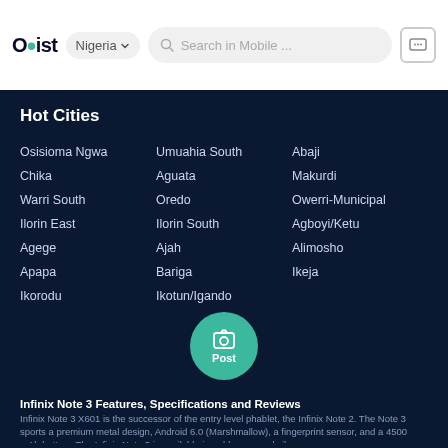Olist | Nigeria | Search in Mobile ...
Hot Cities
Osisioma Ngwa
Chika
Warri South
Ilorin East
Agege
Apapa
Ikorodu
Umuahia South
Aguata
Oredo
Ilorin South
Ajah
Bariga
Ikotun/Igando
Abaji
Makurdi
Owerri-Municipal
Agboyi/Ketu
Alimosho
Ikeja
Post
Infinix Note 3 Features, Specifications and Reviews
Infinix Note 3 X601 is the successor of the entry level phablet, the Infinix Note 2. The Note 3 sports a premium metal design, Android 6.0 (Marshmallow), a fingerprint sensor, and a 4500 mAh battery. The Infinix Note 3 is available in gold, gray, and silver.